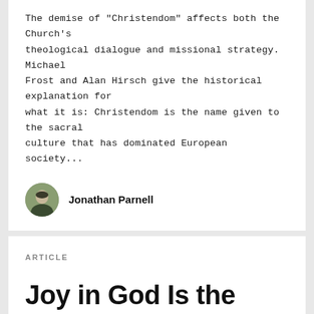The demise of "Christendom" affects both the Church's theological dialogue and missional strategy. Michael Frost and Alan Hirsch give the historical explanation for what it is: Christendom is the name given to the sacral culture that has dominated European society...
Jonathan Parnell
ARTICLE
Joy in God Is the Heart of Mission
JUN 9, 2011
The glory of God — and our joy in him — is the heart of mission. John Piper writes, The goal of missions is the gladness of the peoples in the greatness of God. "The